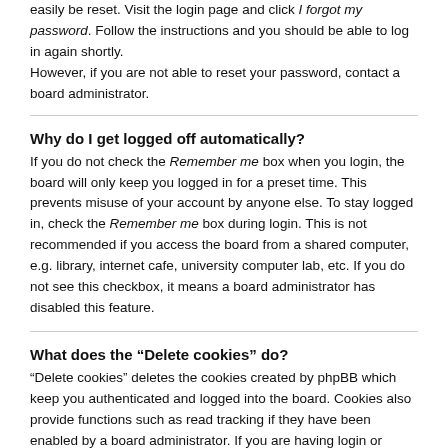easily be reset. Visit the login page and click I forgot my password. Follow the instructions and you should be able to log in again shortly.
However, if you are not able to reset your password, contact a board administrator.
Why do I get logged off automatically?
If you do not check the Remember me box when you login, the board will only keep you logged in for a preset time. This prevents misuse of your account by anyone else. To stay logged in, check the Remember me box during login. This is not recommended if you access the board from a shared computer, e.g. library, internet cafe, university computer lab, etc. If you do not see this checkbox, it means a board administrator has disabled this feature.
What does the “Delete cookies” do?
“Delete cookies” deletes the cookies created by phpBB which keep you authenticated and logged into the board. Cookies also provide functions such as read tracking if they have been enabled by a board administrator. If you are having login or